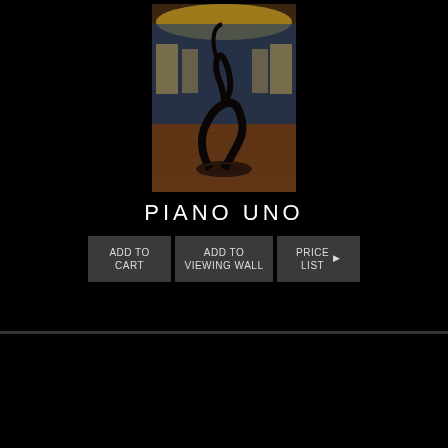[Figure (photo): Interior architectural photo showing an ornate circular room with a spiral staircase, decorated ceiling with murals, blue walls, arched windows, and tiled floor. Viewed from below looking up.]
PIANO UNO
ADD TO CART
ADD TO VIEWING WALL
PRICE LIST ▶
[Figure (photo): Interior architectural photo showing a gothic arched corridor with frescoed walls and a spiral staircase in the center, warm lighting from below.]